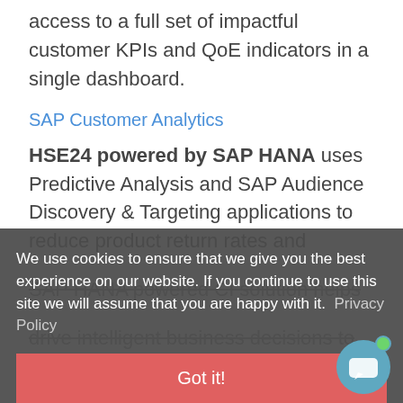access to a full set of impactful customer KPIs and QoE indicators in a single dashboard.
SAP Customer Analytics
HSE24 powered by SAP HANA uses Predictive Analysis and SAP Audience Discovery & Targeting applications to reduce product return rates and
SAP HANA powered CI solution helps drive intelligent business decisions to maximize ROI and proactively
We use cookies to ensure that we give you the best experience on our website. If you continue to use this site we will assume that you are happy with it. Privacy Policy
Got it!